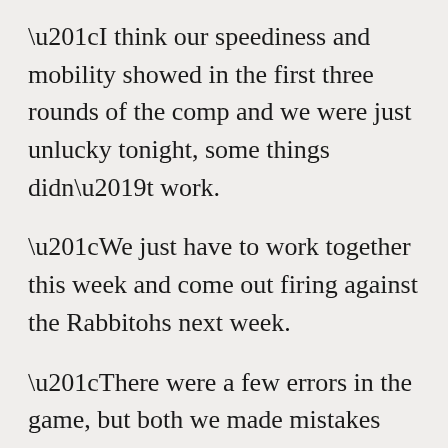“I think our speediness and mobility showed in the first three rounds of the comp and we were just unlucky tonight, some things didn’t work.
“We just have to work together this week and come out firing against the Rabbitohs next week.
“There were a few errors in the game, but both we made mistakes and it was a bit of a back and forth game.
“We have good defence, we just need to work on speeding up our starts and not letting the opposition get the jump on us in the opening